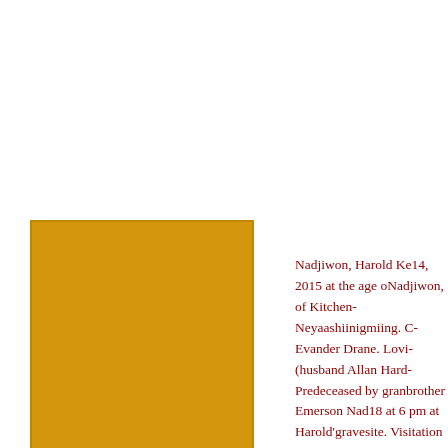[Figure (photo): Golden/amber colored square portrait placeholder image for Harold Nadjiwon]
Harold Nadjiwon
1945 - 2015
Nadjiwon, Harold Ke... 14, 2015 at the age o... Nadjiwon, of Kitchen... Neyaashiinigmiing. C... Evander Drane. Lovi... (husband Allan Hard... Predeceased by grand... brother Emerson Nad... 18 at 6 pm at Harold'... gravesite. Visitation a... Christian Service wil... with visiting from 12... Whitcroft Funeral Ho... Maadookii Seniors C...